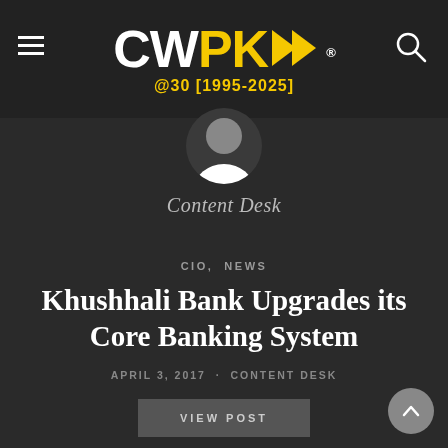CWPK @30 [1995-2025]
[Figure (logo): CWPK logo with double arrow, @30 [1995-2025] tagline, white and yellow on dark background]
Content Desk
CIO,  NEWS
Khushhali Bank Upgrades its Core Banking System
APRIL 3, 2017 · CONTENT DESK
VIEW POST